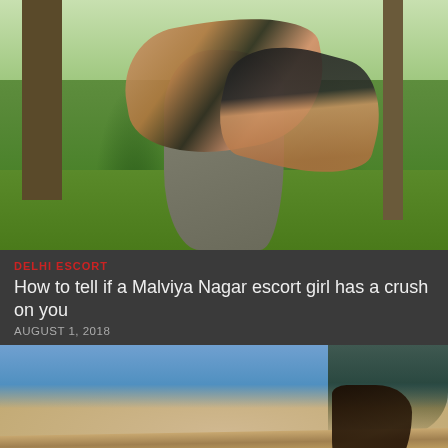[Figure (photo): Two women posing on a large rock or stone monument in an outdoor park/cemetery setting with green grass and trees in the background]
DELHI ESCORT
How to tell if a Malviya Nagar escort girl has a crush on you
AUGUST 1, 2018
[Figure (photo): A woman in dark jeans and light top posing draped over a wooden fence/log rail outdoors with blue sky and trees in the background]